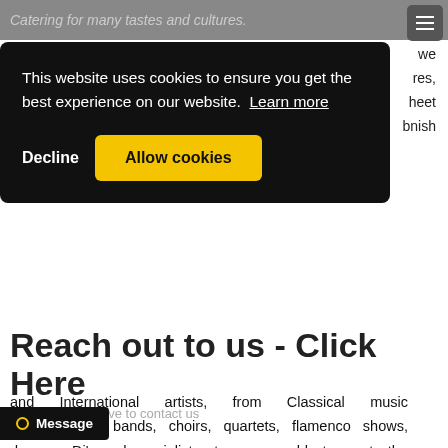Catering for many tastes and cultures.
we features, meet nish and International artists, from Classical music specialists to bands, choirs, quartets, flamenco shows, dancers, Dj's and specialist acts, we are able to create the perfect day of entertainment for your wedding here in Spain.  When only the best will do for your wedding entertainment, Marbella Bride delivers and that's a fact!
[Figure (screenshot): Cookie consent banner overlay. Dark background box with text: 'This website uses cookies to ensure you get the best experience on our website. Learn more'. Two buttons: 'Decline' (text) and 'Allow cookies' (yellow button). Hamburger menu icon in top right corner.]
Reach out to us - Click Here
Click the link above to contact us
Message